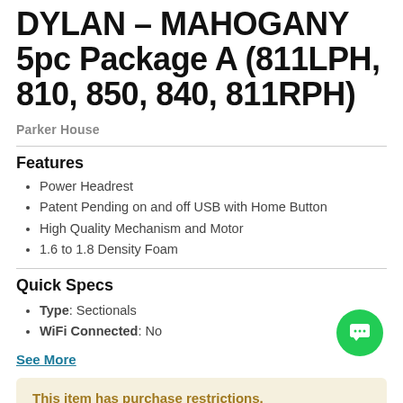DYLAN – MAHOGANY 5pc Package A (811LPH, 810, 850, 840, 811RPH)
Parker House
Features
Power Headrest
Patent Pending on and off USB with Home Button
High Quality Mechanism and Motor
1.6 to 1.8 Density Foam
Quick Specs
Type: Sectionals
WiFi Connected: No
See More
This item has purchase restrictions.